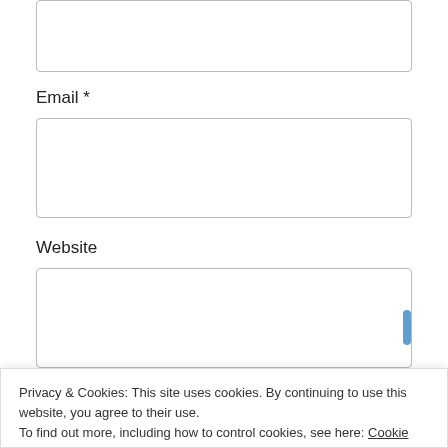[Figure (screenshot): Top text input field (partially visible, cropped at top)]
Email *
[Figure (screenshot): Email input text field (empty)]
Website
[Figure (screenshot): Website input text field (empty)]
Privacy & Cookies: This site uses cookies. By continuing to use this website, you agree to their use.
To find out more, including how to control cookies, see here: Cookie Policy
Close and accept
Notify me of new posts via email